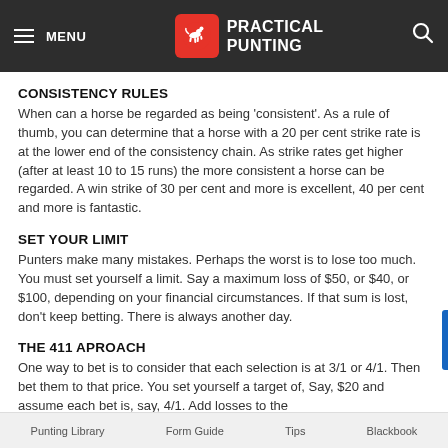MENU | PRACTICAL PUNTING
CONSISTENCY RULES
When can a horse be regarded as being 'consistent'. As a rule of thumb, you can determine that a horse with a 20 per cent strike rate is at the lower end of the consistency chain. As strike rates get higher (after at least 10 to 15 runs) the more consistent a horse can be regarded. A win strike of 30 per cent and more is excellent, 40 per cent and more is fantastic.
SET YOUR LIMIT
Punters make many mistakes. Perhaps the worst is to lose too much. You must set yourself a limit. Say a maximum loss of $50, or $40, or $100, depending on your financial circumstances. If that sum is lost, don't keep betting. There is always another day.
THE 411 APROACH
One way to bet is to consider that each selection is at 3/1 or 4/1. Then bet them to that price. You set yourself a target of, Say, $20 and assume each bet is, say, 4/1. Add losses to the
Punting Library    Form Guide    Tips    Blackbook